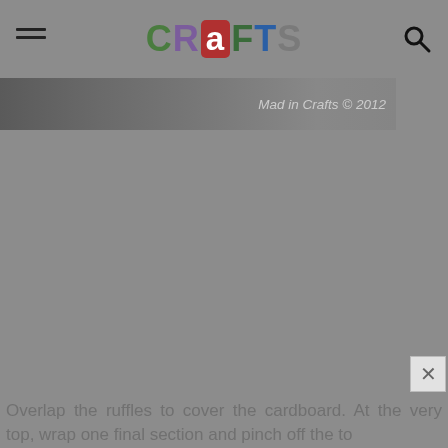CRAFTS
[Figure (screenshot): Gray background banner with watermark text 'Mad in Crafts © 2012']
[Figure (photo): Large gray image area (main content photo, mostly gray/faded)]
Overlap the ruffles to cover the cardboard.  At the very top, wrap one final section and pinch off the to